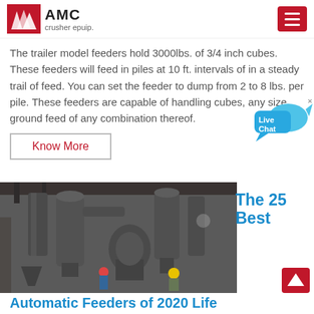AMC crusher epuip.
The trailer model feeders hold 3000lbs. of 3/4 inch cubes. These feeders will feed in piles at 10 ft. intervals of in a steady trail of feed. You can set the feeder to dump from 2 to 8 lbs. per pile. These feeders are capable of handling cubes, any size, ground feed of any combination thereof.
Know More
[Figure (photo): Industrial machinery inside a factory building — large metal cyclone dust collectors, pipes, and milling equipment. Two workers visible wearing hard hats.]
The 25 Best
Automatic Feeders of 2020 Life